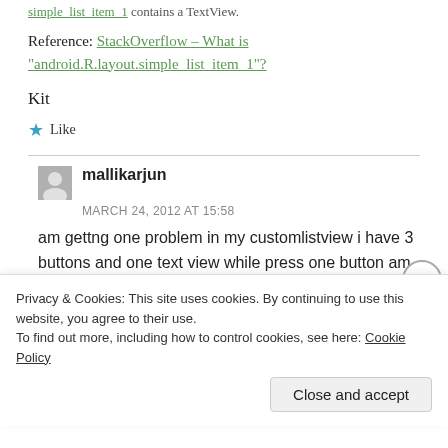Reference: StackOverflow – What is "android.R.layout.simple_list_item_1"?
Kit
★ Like
mallikarjun
MARCH 24, 2012 AT 15:58
am gettng one problem in my customlistview i have 3 buttons and one text view while press one button am
Privacy & Cookies: This site uses cookies. By continuing to use this website, you agree to their use.
To find out more, including how to control cookies, see here: Cookie Policy
Close and accept